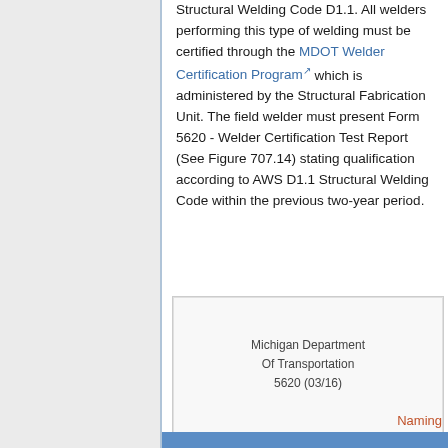Structural Welding Code D1.1. All welders performing this type of welding must be certified through the MDOT Welder Certification Program which is administered by the Structural Fabrication Unit. The field welder must present Form 5620 - Welder Certification Test Report (See Figure 707.14) stating qualification according to AWS D1.1 Structural Welding Code within the previous two-year period.
[Figure (other): Partial view of a form titled 'Michigan Department Of Transportation 5620 (03/16)' with text 'Naming' visible at lower right]